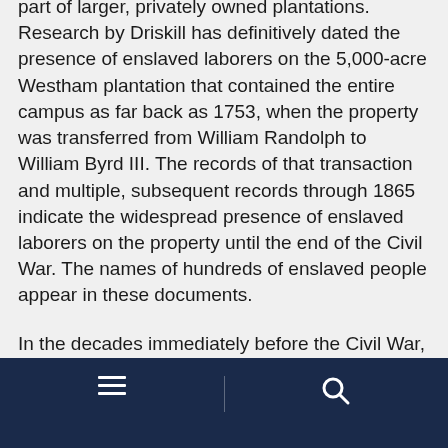part of larger, privately owned plantations. Research by Driskill has definitively dated the presence of enslaved laborers on the 5,000-acre Westham plantation that contained the entire campus as far back as 1753, when the property was transferred from William Randolph to William Byrd III. The records of that transaction and multiple, subsequent records through 1865 indicate the widespread presence of enslaved laborers on the property until the end of the Civil War. The names of hundreds of enslaved people appear in these documents.
In the decades immediately before the Civil War, portions of the current university property were owned by a man named Benjamin Green and members of his family. The family profited from a number of properties
Navigation bar with menu and search icons